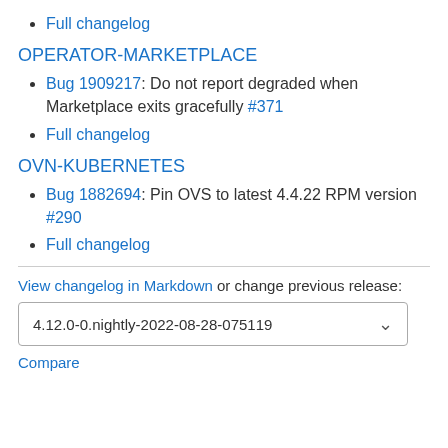Full changelog
OPERATOR-MARKETPLACE
Bug 1909217: Do not report degraded when Marketplace exits gracefully #371
Full changelog
OVN-KUBERNETES
Bug 1882694: Pin OVS to latest 4.4.22 RPM version #290
Full changelog
View changelog in Markdown or change previous release:
4.12.0-0.nightly-2022-08-28-075119
Compare